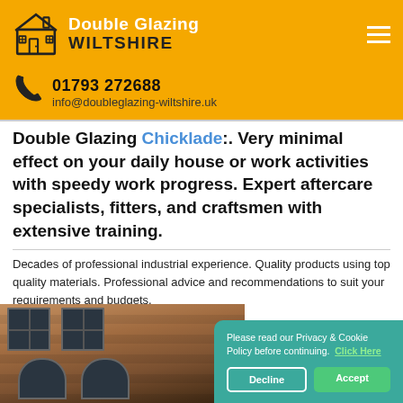Double Glazing WILTSHIRE
01793 272688
info@doubleglazing-wiltshire.uk
Double Glazing Chicklade:. Very minimal effect on your daily house or work activities with speedy work progress. Expert aftercare specialists, fitters, and craftsmen with extensive training.
Decades of professional industrial experience. Quality products using top quality materials. Professional advice and recommendations to suit your requirements and budgets.
[Figure (photo): Exterior brick building with dark-framed windows]
Please read our Privacy & Cookie Policy before continuing. Click Here
Decline  Accept